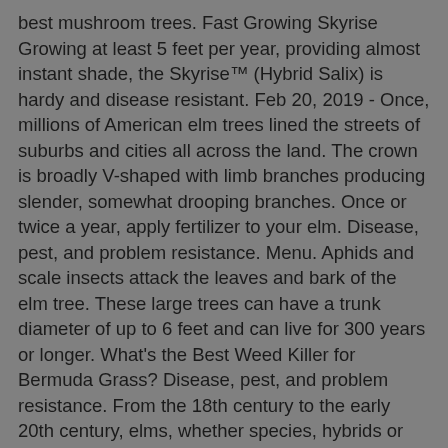best mushroom trees. Fast Growing Skyrise Growing at least 5 feet per year, providing almost instant shade, the Skyrise™ (Hybrid Salix) is hardy and disease resistant. Feb 20, 2019 - Once, millions of American elm trees lined the streets of suburbs and cities all across the land. The crown is broadly V-shaped with limb branches producing slender, somewhat drooping branches. Once or twice a year, apply fertilizer to your elm. Disease, pest, and problem resistance. Menu. Aphids and scale insects attack the leaves and bark of the elm tree. These large trees can have a trunk diameter of up to 6 feet and can live for 300 years or longer. What's the Best Weed Killer for Bermuda Grass? Disease, pest, and problem resistance. From the 18th century to the early 20th century, elms, whether species, hybrids or cultivars, were among the most widely planted ornamental trees in both Europe and North America. The Cedar Elm growth rate is medium and when mature, can grow to be a large sized tree. Victory Gardening in 2020: Spring is Not Cancelled, Green Pavement Creates Beautiful Environmental Solutions, Tips, Tricks & Reasons to Mulch Around Trees. The trees grows quickly, once established will grow as much as 3 feet per year. Mulch helps the soil hold moisture and reduces competition from weeds. The tree eventually reaches a height of